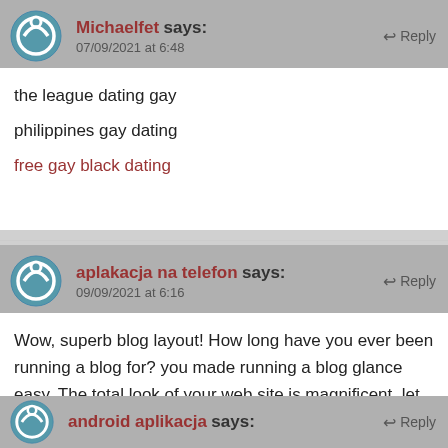Michaelfet says: 07/09/2021 at 6:48
the league dating gay
philippines gay dating
free gay black dating
aplakacja na telefon says: 09/09/2021 at 6:16
Wow, superb blog layout! How long have you ever been running a blog for? you made running a blog glance easy. The total look of your web site is magnificent, let alone the content! firmonet
android aplikacja says: